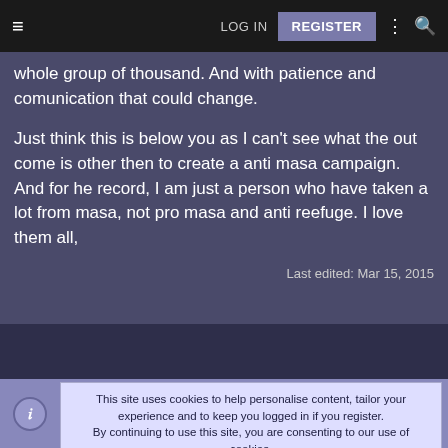≡   LOG IN   REGISTER   ⋮   🔍
whole group of thousand. And with patience and comunication that could change.

Just think this is below you as I can't see what the out come is other then to create a anti masa campaign.
And for he record, I am just a person who have taken a lot from masa, not pro masa and anti reefuge. I love them all,
Last edited: Mar 15, 2015
This site uses cookies to help personalise content, tailor your experience and to keep you logged in if you register.
By continuing to use this site, you are consenting to our use of cookies.

✓ ACCEPT   LEARN MORE...